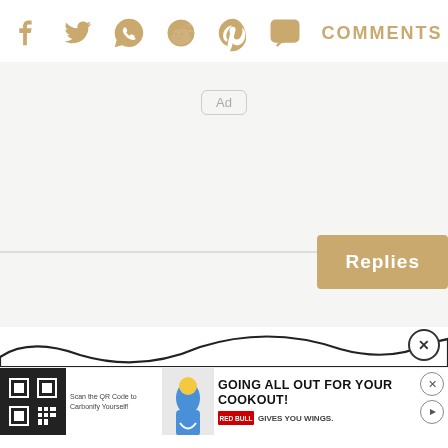[Figure (infographic): Social sharing icons row: Facebook, Twitter, WhatsApp, Reddit, Pinterest, Comment bubble, and COMMENTS label — all in gold/tan color]
[Figure (screenshot): Ad placeholder box with light gray background and an 'Ad' badge in the center]
[Figure (screenshot): Replies button in gold color at bottom right of ad area]
[Figure (screenshot): Comments section with gray background below ad]
[Figure (infographic): Wavy black decorative line at bottom of page with close (X) button circle]
[Figure (screenshot): Red Bull advertisement banner at bottom showing QR code, cartoon character, 'GOING ALL OUT FOR YOUR COOKOUT!' heading, and 'RED BULL GIVES YOU WINGS.' tagline with close X and play buttons]